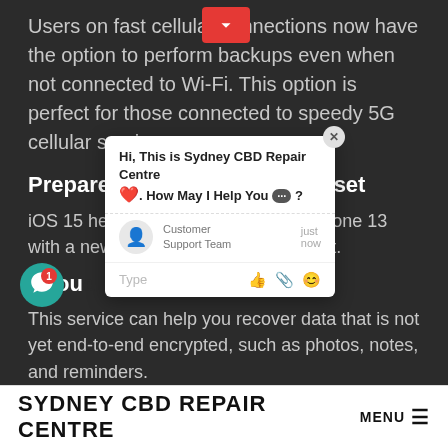Users on fast cellular connections now have the option to perform backups even when not connected to Wi-Fi. This option is perfect for those connected to speedy 5G cellular service.
Prepare for new iPhone on reset
iOS 15 helps you get ready for the iPhone 13 with a new prepare for restore checklist.
iCloud Data Recovery service
This service can help you recover data that is not yet end-to-end encrypted, such as photos, notes, and reminders.
Account Recovery Contact
[Figure (screenshot): Chat widget overlay showing 'Hi, This is Sydney CBD Repair Centre ❤️. How May I Help You 💬?' with Customer Support Team agent and just now timestamp, plus Type input area with icons.]
SYDNEY CBD REPAIR CENTRE  MENU ≡